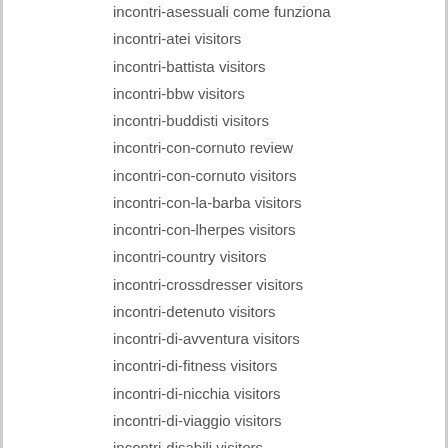incontri-asessuali come funziona
incontri-atei visitors
incontri-battista visitors
incontri-bbw visitors
incontri-buddisti visitors
incontri-con-cornuto review
incontri-con-cornuto visitors
incontri-con-la-barba visitors
incontri-con-lherpes visitors
incontri-country visitors
incontri-crossdresser visitors
incontri-detenuto visitors
incontri-di-avventura visitors
incontri-di-fitness visitors
incontri-di-nicchia visitors
incontri-di-viaggio visitors
incontri-disabili visitors
incontri-divorziati visitors
incontri-elite italia
incontri-equestri sito di incontri